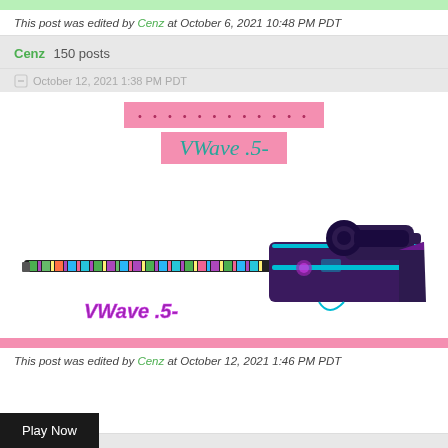This post was edited by Cenz at October 6, 2021 10:48 PM PDT
Cenz  150 posts
October 12, 2021 1:38 PM PDT
[Figure (illustration): Pink highlighted text showing dots pattern and 'VWave .5-' title text in teal italic font on pink background, followed by a stylized sniper rifle game skin with purple/teal color scheme and 'VWave .5-' text label]
This post was edited by Cenz at October 12, 2021 1:46 PM PDT
Play Now